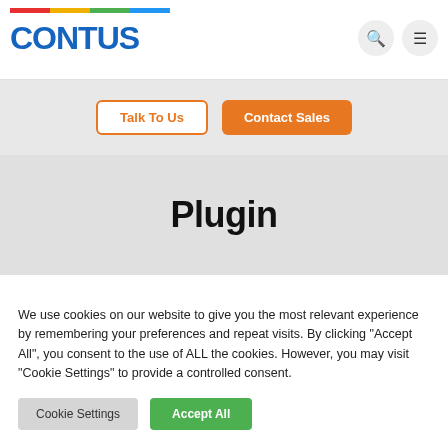CONTUS
[Figure (other): Two CTA buttons: 'Talk To Us' (outline orange) and 'Contact Sales' (filled orange)]
Plugin
We use cookies on our website to give you the most relevant experience by remembering your preferences and repeat visits. By clicking "Accept All", you consent to the use of ALL the cookies. However, you may visit "Cookie Settings" to provide a controlled consent.
Cookie Settings | Accept All